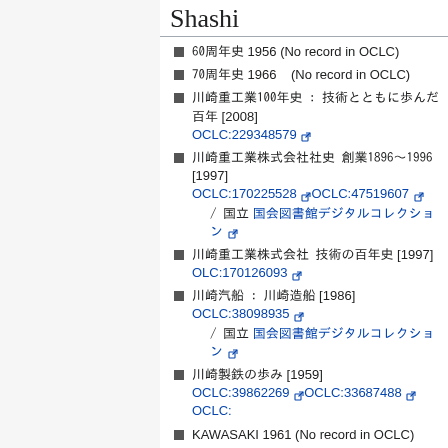Shashi
60年史 1956 (No record in OCLC)
70年史 1966   (No record in OCLC)
川崎重工業100年史 : 技術とともに歩んだ百年 [2008] OCLC:229348579
川崎重工業株式会社社史 創業1896～1996 [1997] OCLC:170225528 OCLC:47519607 / 国立国会図書館デジタルコレクション
川崎重工業株式会社 技術の百年史 [1997] OLC:170126093
川崎汽船 : 川崎造船 [1986] OCLC:38098935 / 国立国会図書館デジタルコレクション
川崎製鉄の歩み [1959] OCLC:39862269 OCLC:33687488 OCLC:…
KAWASAKI 1961 (No record in OCLC)
Links
Kawasaki Kisen
Kawasaki Zosen
Kawasaki Seitetsu